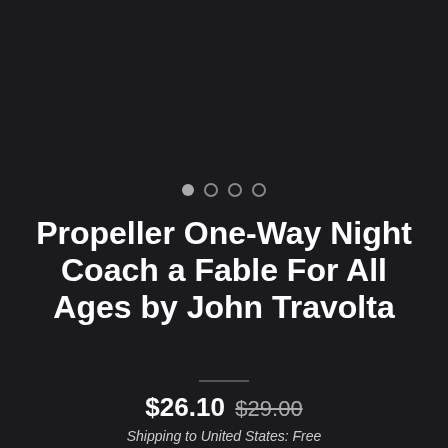[Figure (other): Dark background image area with carousel dot indicators showing 4 dots (first dot filled/white, others outlined)]
Propeller One-Way Night Coach a Fable For All Ages by John Travolta
$26.10 $29.00
Shipping to United States: Free
Add to cart